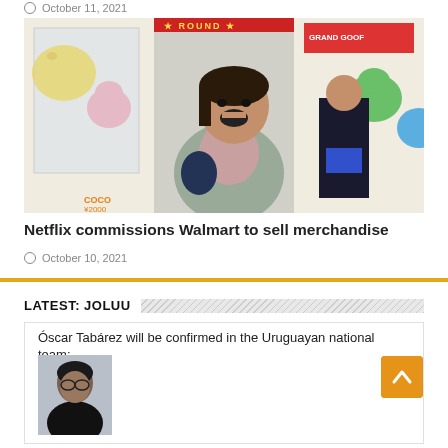October 11, 2021
[Figure (photo): Person laughing and leaning forward in front of arcade claw machines with stuffed toys]
Netflix commissions Walmart to sell merchandise
October 10, 2021
LATEST: JOLUU
Óscar Tabárez will be confirmed in the Uruguayan national team:
[Figure (photo): Portrait photo of a person]
[Figure (other): Back to top button (orange arrow)]